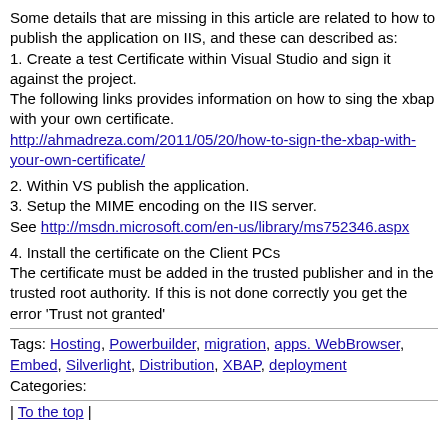Some details that are missing in this article are related to how to publish the application on IIS, and these can described as:
1. Create a test Certificate within Visual Studio and sign it against the project.
The following links provides information on how to sing the xbap with your own certificate.
http://ahmadreza.com/2011/05/20/how-to-sign-the-xbap-with-your-own-certificate/
2. Within VS publish the application.
3. Setup the MIME encoding on the IIS server. See http://msdn.microsoft.com/en-us/library/ms752346.aspx
4. Install the certificate on the Client PCs The certificate must be added in the trusted publisher and in the trusted root authority. If this is not done correctly you get the error 'Trust not granted'
Tags: Hosting, Powerbuilder, migration, apps. WebBrowser, Embed, Silverlight, Distribution, XBAP, deployment
Categories:
| To the top |